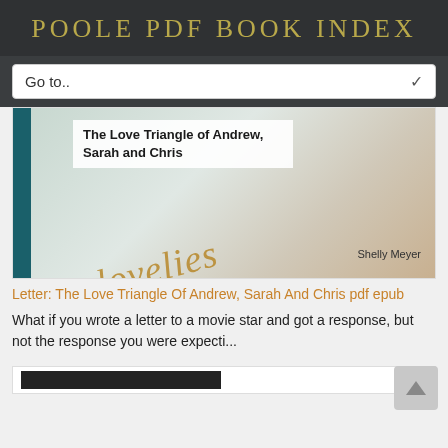POOLE PDF BOOK INDEX
Go to..
[Figure (photo): Book cover for 'The Love Triangle of Andrew, Sarah and Chris' by Shelly Meyer, featuring cursive gold text 'lovelies' on a light background with a teal spine bar]
Letter: The Love Triangle Of Andrew, Sarah And Chris pdf epub
What if you wrote a letter to a movie star and got a response, but not the response you were expecti...